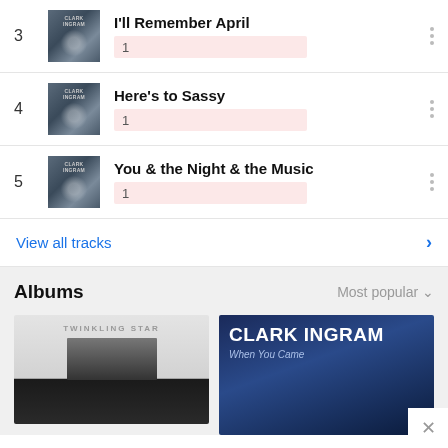3 — I'll Remember April — 1
4 — Here's to Sassy — 1
5 — You & the Night & the Music — 1
View all tracks
Albums
Most popular
[Figure (photo): Album cover: Twinkling Star]
[Figure (photo): Album cover: Clark Ingram - When You Came]